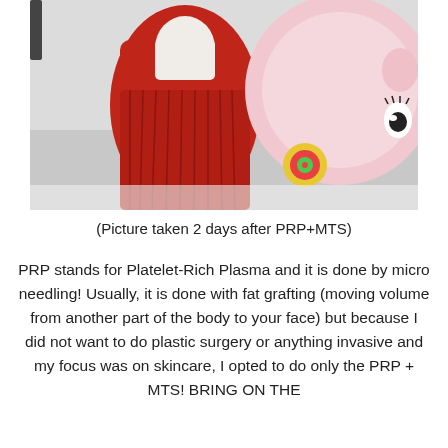[Figure (photo): A person in a red dress holding or posing with a large inflatable unicorn or animal toy outdoors in a snowy setting. The inflatable is pink/white with a painted eye design and colorful decorations.]
(Picture taken 2 days after PRP+MTS)
PRP stands for Platelet-Rich Plasma and it is done by micro needling! Usually, it is done with fat grafting (moving volume from another part of the body to your face) but because I did not want to do plastic surgery or anything invasive and my focus was on skincare, I opted to do only the PRP + MTS! BRING ON THE